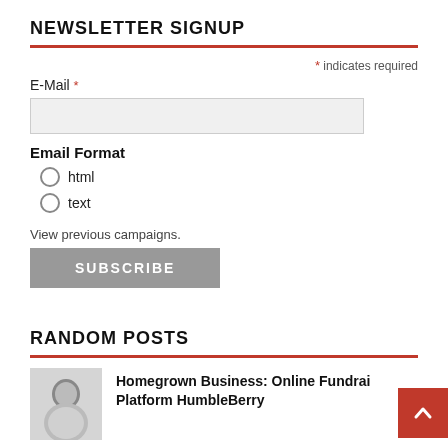NEWSLETTER SIGNUP
* indicates required
E-Mail *
Email Format
html
text
View previous campaigns.
SUBSCRIBE
RANDOM POSTS
Homegrown Business: Online Fundraising Platform HumbleBerry